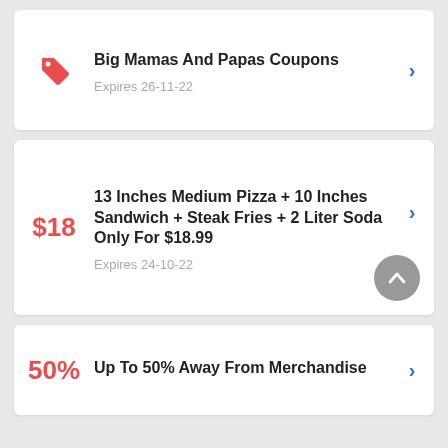Big Mamas And Papas Coupons
Expires 26-11-22
13 Inches Medium Pizza + 10 Inches Sandwich + Steak Fries + 2 Liter Soda Only For $18.99
Expires 24-10-22
Up To 50% Away From Merchandise